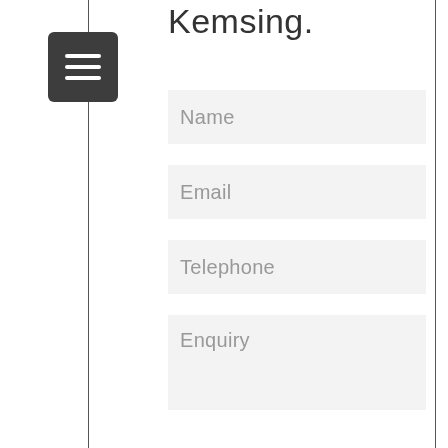Kemsing.
[Figure (other): Hamburger menu icon — dark grey square with three horizontal white lines]
Name
Email
Telephone
Enquiry